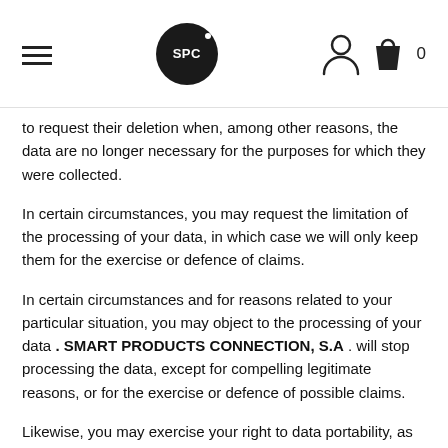SPC [logo with hamburger menu and cart icon]
to request their deletion when, among other reasons, the data are no longer necessary for the purposes for which they were collected.
In certain circumstances, you may request the limitation of the processing of your data, in which case we will only keep them for the exercise or defence of claims.
In certain circumstances and for reasons related to your particular situation, you may object to the processing of your data . SMART PRODUCTS CONNECTION, S.A . will stop processing the data, except for compelling legitimate reasons, or for the exercise or defence of possible claims.
Likewise, you may exercise your right to data portability, as well as withdraw the consent provided at any time, without this affecting the lawfulness of the processing based on the consent prior to its withdrawal.
If you wish to exercise any of your rights, you can contact us by e-mail...